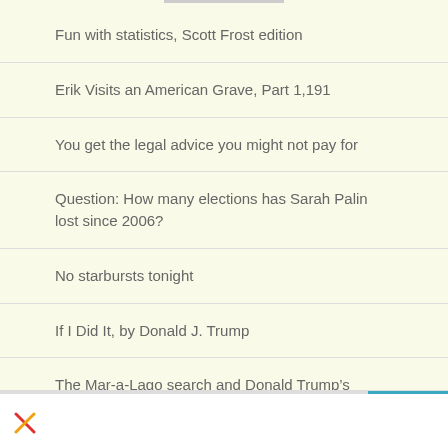Fun with statistics, Scott Frost edition
Erik Visits an American Grave, Part 1,191
You get the legal advice you might not pay for
Question: How many elections has Sarah Palin lost since 2006?
No starbursts tonight
If I Did It, by Donald J. Trump
The Mar-a-Lago search and Donald Trump’s abuse of the Former Presidents Act